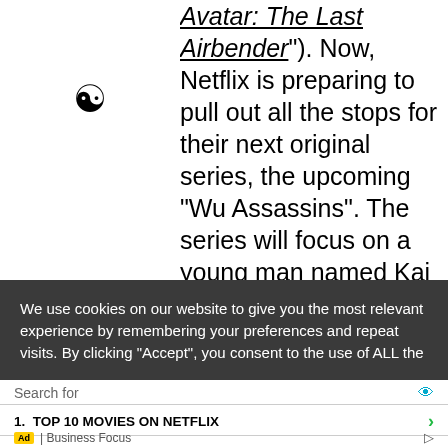[Figure (illustration): Yin-yang symbol icon in left column]
Avatar: The Last Airbender"). Now, Netflix is preparing to pull out all the stops for their next original series, the upcoming “Wu Assassins". The series will focus on a young man named Kai Jin, played by Iko Uwais, who
We use cookies on our website to give you the most relevant experience by remembering your preferences and repeat visits. By clicking “Accept”, you consent to the use of ALL the
Search for
1.  TOP 10 MOVIES ON NETFLIX
2.  WATCH ENTERTAINMENT MOVIES
Ad | Business Focus